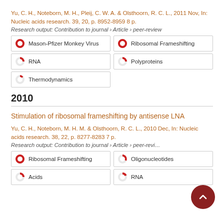Yu, C. H., Noteborn, M. H., Pleij, C. W. A. & Olsthoorn, R. C. L., 2011 Nov, In: Nucleic acids research. 39, 20, p. 8952-8959 8 p.
Research output: Contribution to journal › Article › peer-review
[Figure (infographic): Keyword badges with pie-chart icons: Mason-Pfizer Monkey Virus (100%), Ribosomal Frameshifting (100%), RNA (~50%), Polyproteins (~50%), Thermodynamics (~35%)]
2010
Stimulation of ribosomal frameshifting by antisense LNA
Yu, C. H., Noteborn, M. H. M. & Olsthoorn, R. C. L., 2010 Dec, In: Nucleic acids research. 38, 22, p. 8277-8283 7 p.
Research output: Contribution to journal › Article › peer-review
[Figure (infographic): Keyword badges with pie-chart icons: Ribosomal Frameshifting (100%), Oligonucleotides (~70%), Acids (~55%), RNA (~45%)]